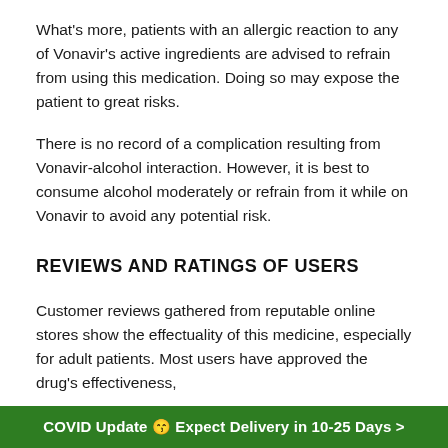What's more, patients with an allergic reaction to any of Vonavir's active ingredients are advised to refrain from using this medication. Doing so may expose the patient to great risks.
There is no record of a complication resulting from Vonavir-alcohol interaction. However, it is best to consume alcohol moderately or refrain from it while on Vonavir to avoid any potential risk.
REVIEWS AND RATINGS OF USERS
Customer reviews gathered from reputable online stores show the effectuality of this medicine, especially for adult patients. Most users have approved the drug's effectiveness,
COVID Update 😷 Expect Delivery in 10-25 Days >